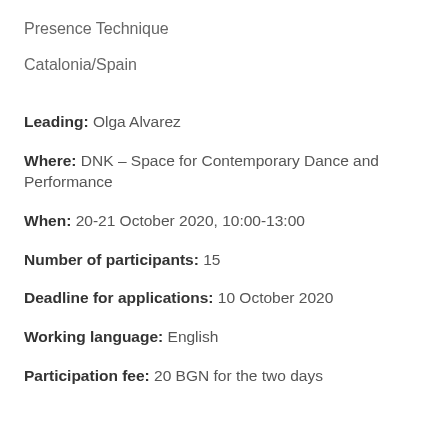Presence Technique
Catalonia/Spain
Leading: Olga Alvarez
Where: DNK – Space for Contemporary Dance and Performance
When: 20-21 October 2020, 10:00-13:00
Number of participants: 15
Deadline for applications: 10 October 2020
Working language: English
Participation fee: 20 BGN for the two days